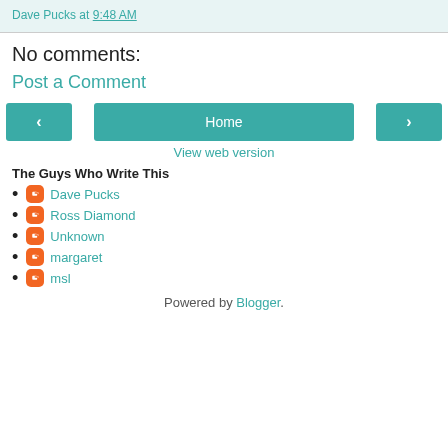Dave Pucks at 9:48 AM
No comments:
Post a Comment
[Figure (other): Navigation buttons: left arrow, Home, right arrow, and View web version link]
The Guys Who Write This
Dave Pucks
Ross Diamond
Unknown
margaret
msl
Powered by Blogger.